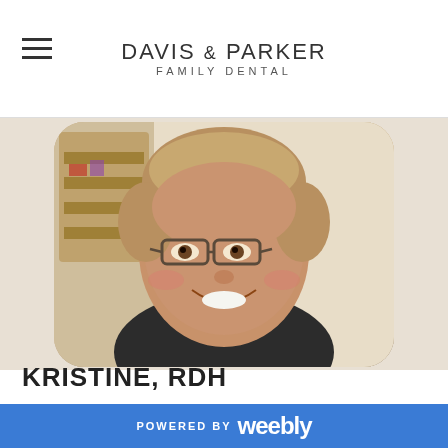Davis & Parker Family Dental
[Figure (photo): Headshot photo of Kristine, RDH — a woman with short hair and glasses, smiling, wearing a dark shirt, with a wooden shelf in the background. Photo has rounded corners.]
KRISTINE, RDH
Where were you born and raised?  Lincoln, NE, I have
POWERED BY weebly